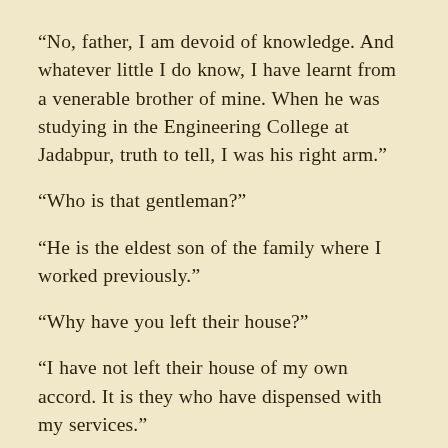“No, father, I am devoid of knowledge. And whatever little I do know, I have learnt from a venerable brother of mine. When he was studying in the Engineering College at Jadabpur, truth to tell, I was his right arm.”
“Who is that gentleman?”
“He is the eldest son of the family where I worked previously.”
“Why have you left their house?”
“I have not left their house of my own accord. It is they who have dispensed with my services.”
“On what charge?”